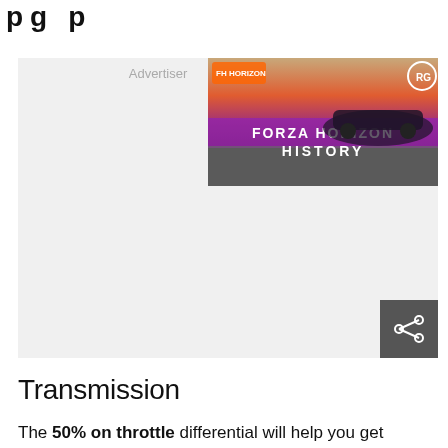p g p
[Figure (screenshot): Advertisement banner with Forza Horizon History game ad on the right side, and a gray advertisement placeholder area on the left.]
Transmission
The 50% on throttle differential will help you get